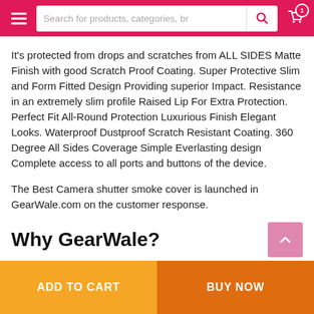Search for products, categories, br
It's protected from drops and scratches from ALL SIDES Matte Finish with good Scratch Proof Coating. Super Protective Slim and Form Fitted Design Providing superior Impact. Resistance in an extremely slim profile Raised Lip For Extra Protection. Perfect Fit All-Round Protection Luxurious Finish Elegant Looks. Waterproof Dustproof Scratch Resistant Coating. 360 Degree All Sides Coverage Simple Everlasting design Complete access to all ports and buttons of the device.
The Best Camera shutter smoke cover is launched in GearWale.com on the customer response.
Why GearWale?